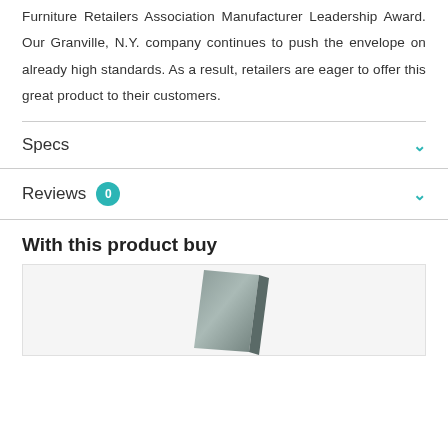Furniture Retailers Association Manufacturer Leadership Award. Our Granville, N.Y. company continues to push the envelope on already high standards. As a result, retailers are eager to offer this great product to their customers.
Specs
Reviews 0
With this product buy
[Figure (photo): Product image of a slate/dark gray angular object against a light background]